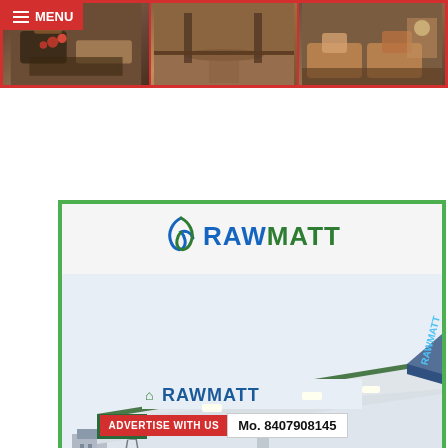[Figure (photo): Hotel/restaurant interior photos strip with MENU button — three photos showing food display, carpeted dining room, and lounge seating area]
[Figure (photo): Rawmatt CNG Station advertisement showing the Rawmatt logo at top and a photo of a CNG station canopy with 'CNG Station at Automotive sq.' banner]
ADVERTISE WITH US  Mo. 8407908145